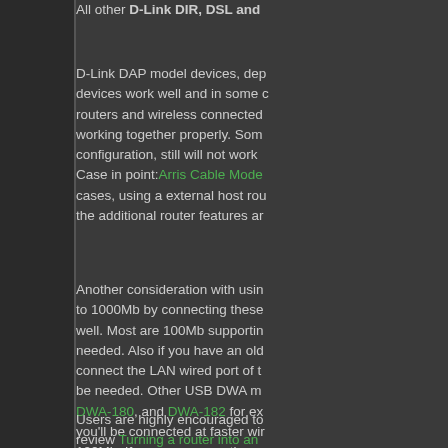All other D-Link DIR, DSL and
D-Link DAP model devices, dep devices work well and in some cases routers and wireless connected working together properly. Som configuration, still will not work Case in point: Arris Cable Mode cases, using a external host rou the additional router features ar
Another consideration with usin to 1000Mb by connecting these well. Most are 100Mb supportin needed. Also if you have an old connect the LAN wired port of t be needed. Other USB DWA m DWA-180, and DWA-182 for ex you'll be connected at faster wir 100Mb. If a newer generation x Again, these suggested options
Users are highly encouraged to review Turning a router into an